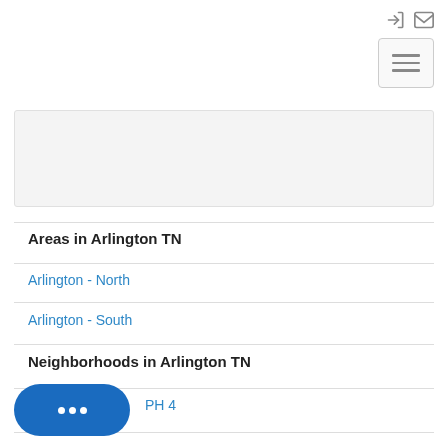[Figure (screenshot): Login and mail icons in top right navigation]
[Figure (screenshot): Hamburger menu button with three horizontal lines]
[Figure (screenshot): Gray content card/box area]
Areas in Arlington TN
Arlington - North
Arlington - South
Neighborhoods in Arlington TN
PH 4
[Figure (screenshot): Blue chat bubble button with three dots]